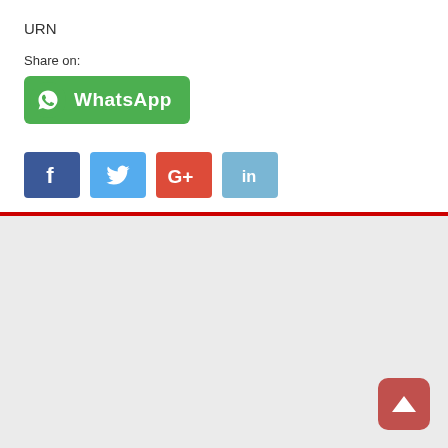URN
Share on:
[Figure (screenshot): WhatsApp share button (green rounded rectangle with WhatsApp logo and text 'WhatsApp')]
[Figure (screenshot): Social share buttons: Facebook (f), Twitter (bird), Google+ (G+), LinkedIn (in)]
Tags  • BRASS FOR AFRICA  • FACEBOOK  • MBALE  • MONK